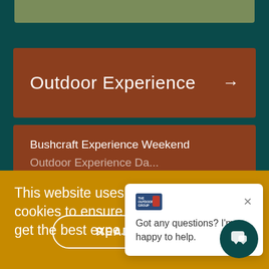[Figure (screenshot): Top olive/sage decorative bar at top of page]
Outdoor Experience →
Bushcraft Experience Weekend
This website uses cookies to ensure you get the best expe...
Got any questions? I'm happy to help.
READ MORE